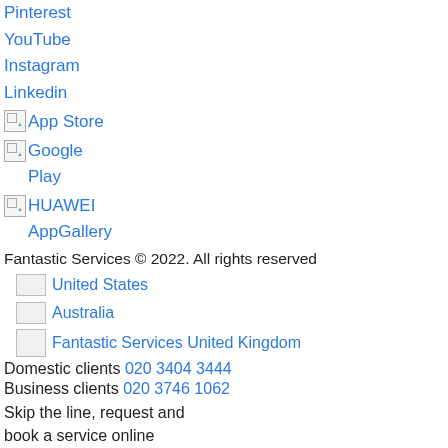Pinterest
YouTube
Instagram
Linkedin
App Store
Google Play
HUAWEI AppGallery
Fantastic Services © 2022. All rights reserved
United States
Australia
Fantastic Services United Kingdom
Domestic clients 020 3404 3444
Business clients 020 3746 1062
Skip the line, request and book a service online
[Figure (other): Book online button (magenta/pink)]